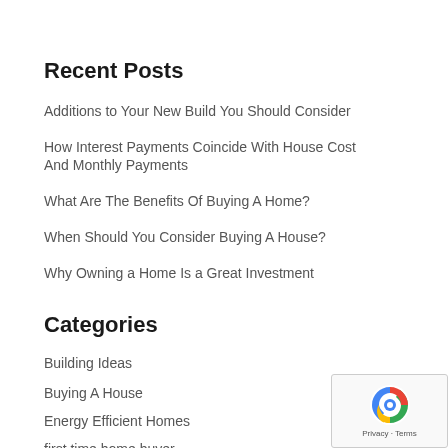Recent Posts
Additions to Your New Build You Should Consider
How Interest Payments Coincide With House Cost And Monthly Payments
What Are The Benefits Of Buying A Home?
When Should You Consider Buying A House?
Why Owning a Home Is a Great Investment
Categories
Building Ideas
Buying A House
Energy Efficient Homes
first time home buyer
GreenLoan Construction